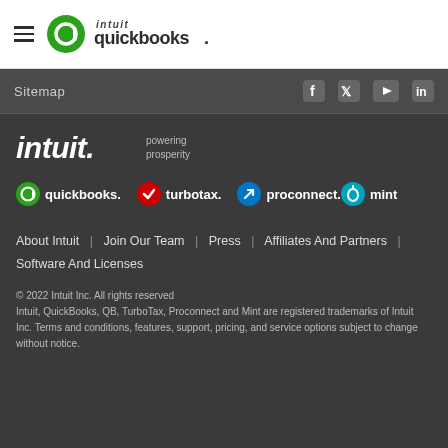QuickBooks (Intuit) navigation header with hamburger menu and QuickBooks logo
Sitemap
[Figure (logo): Social media icons: Facebook, Twitter, YouTube, LinkedIn]
[Figure (logo): Intuit logo with tagline 'powering prosperity']
[Figure (logo): QuickBooks, TurboTax, ProConnect, and Mint product logos]
About Intuit | Join Our Team | Press | Affiliates And Partners | Software And Licenses
© 2022 Intuit Inc. All rights reserved
Intuit, QuickBooks, QB, TurboTax, Proconnect and Mint are registered trademarks of Intuit Inc. Terms and conditions, features, support, pricing, and service options subject to change without notice.